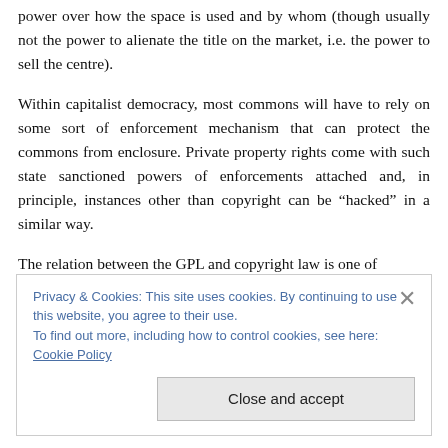power over how the space is used and by whom (though usually not the power to alienate the title on the market, i.e. the power to sell the centre).
Within capitalist democracy, most commons will have to rely on some sort of enforcement mechanism that can protect the commons from enclosure. Private property rights come with such state sanctioned powers of enforcements attached and, in principle, instances other than copyright can be “hacked” in a similar way.
The relation between the GPL and copyright law is one of
Privacy & Cookies: This site uses cookies. By continuing to use this website, you agree to their use.
To find out more, including how to control cookies, see here: Cookie Policy